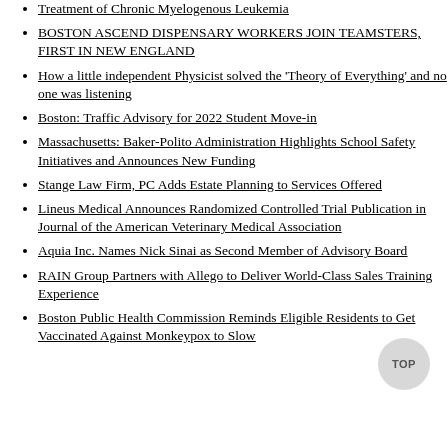Treatment of Chronic Myelogenous Leukemia
BOSTON ASCEND DISPENSARY WORKERS JOIN TEAMSTERS, FIRST IN NEW ENGLAND
How a little independent Physicist solved the 'Theory of Everything' and no one was listening
Boston: Traffic Advisory for 2022 Student Move-in
Massachusetts: Baker-Polito Administration Highlights School Safety Initiatives and Announces New Funding
Stange Law Firm, PC Adds Estate Planning to Services Offered
Lineus Medical Announces Randomized Controlled Trial Publication in Journal of the American Veterinary Medical Association
Aquia Inc. Names Nick Sinai as Second Member of Advisory Board
RAIN Group Partners with Allego to Deliver World-Class Sales Training Experience
Boston Public Health Commission Reminds Eligible Residents to Get Vaccinated Against Monkeypox to Slow